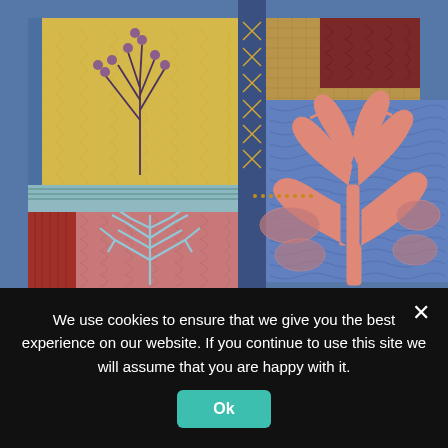[Figure (photo): Close-up photograph of a colorful textile quilt artwork featuring botanical and tree motifs. Top-left quadrant shows a yellow quilted panel with a dark botanical plant illustration with berries, beside a gold/tan woven fabric section. Top-right quadrant shows a large blue quilted panel with a coral/salmon-colored tree silhouette. Bottom-left shows a pink/salmon quilted panel with a light blue snowflake/tree pattern, beside a red textured stripe. Bottom-right continues the large blue panel with the coral tree. Panels are divided by blue denim-like fabric strips with decorative X stitching.]
We use cookies to ensure that we give you the best experience on our website. If you continue to use this site we will assume that you are happy with it.